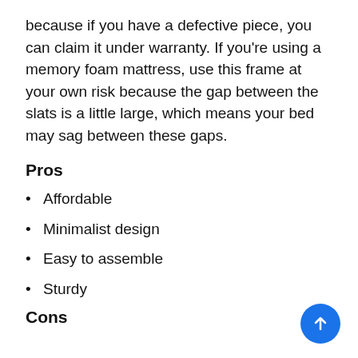because if you have a defective piece, you can claim it under warranty. If you’re using a memory foam mattress, use this frame at your own risk because the gap between the slats is a little large, which means your bed may sag between these gaps.
Pros
Affordable
Minimalist design
Easy to assemble
Sturdy
Cons